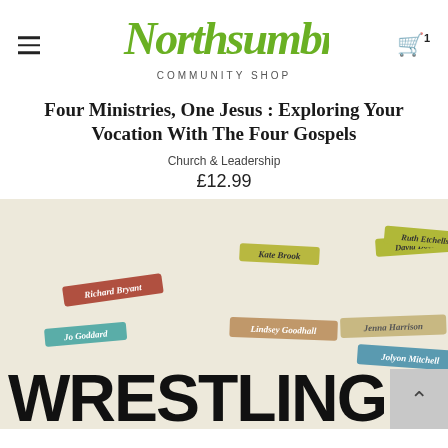Northsumbria Community Shop
Four Ministries, One Jesus : Exploring Your Vocation With The Four Gospels
Church & Leadership
£12.99
[Figure (photo): Book cover for 'Wrestling' with author name tags scattered on a cream background, showing the large bold text 'WRESTLING' at the bottom.]